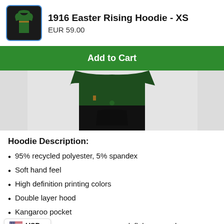1916 Easter Rising Hoodie - XS
EUR 59.00
Add to Cart
[Figure (photo): Photo of dark green hoodie being worn, cropped to show torso/midsection]
Hoodie Description:
95% recycled polyester, 5% spandex
Soft hand feel
High definition printing colors
Double layer hood
Kangaroo pocket
never peel, flake or crack
Two-way stretch fabric